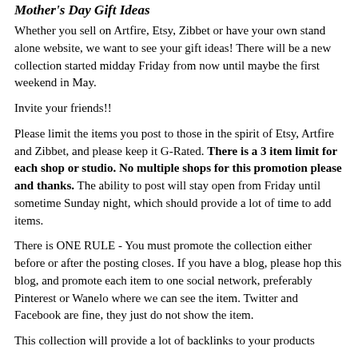Mother's Day Gift Ideas
Whether you sell on Artfire, Etsy, Zibbet or have your own stand alone website, we want to see your gift ideas! There will be a new collection started midday Friday from now until maybe the first weekend in May.
Invite your friends!!
Please limit the items you post to those in the spirit of Etsy, Artfire and Zibbet, and please keep it G-Rated. There is a 3 item limit for each shop or studio. No multiple shops for this promotion please and thanks. The ability to post will stay open from Friday until sometime Sunday night, which should provide a lot of time to add items.
There is ONE RULE - You must promote the collection either before or after the posting closes. If you have a blog, please hop this blog, and promote each item to one social network, preferably Pinterest or Wanelo where we can see the item. Twitter and Facebook are fine, they just do not show the item.
This collection will provide a lot of backlinks to your products